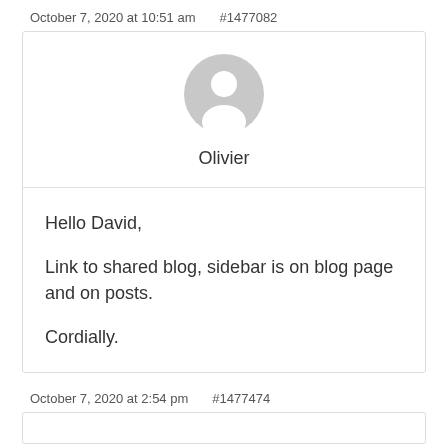October 7, 2020 at 10:51 am    #1477082
[Figure (illustration): Generic user avatar icon — grey circle with white silhouette of a person]
Olivier
Hello David,

Link to shared blog, sidebar is on blog page and on posts.

Cordially.
October 7, 2020 at 2:54 pm    #1477474